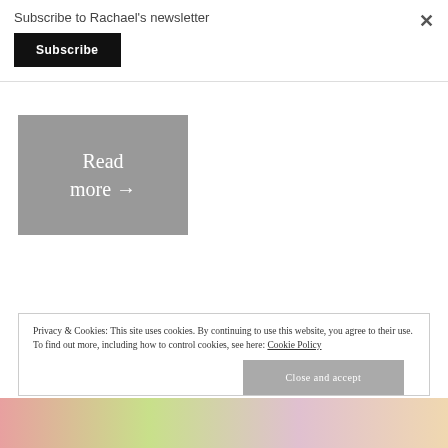Subscribe to Rachael's newsletter
Subscribe
×
Read more →
Privacy & Cookies: This site uses cookies. By continuing to use this website, you agree to their use. To find out more, including how to control cookies, see here: Cookie Policy
Close and accept
[Figure (photo): Colorful bottom image strip with pink, green, and pastel tones]